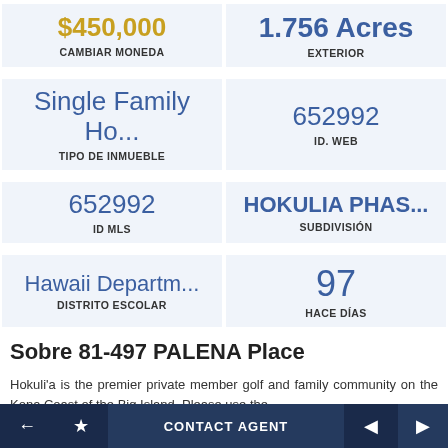$450,000 — CAMBIAR MONEDA
1.756 Acres — EXTERIOR
Single Family Ho... — TIPO DE INMUEBLE
652992 — ID. WEB
652992 — ID MLS
HOKULIA PHAS... — SUBDIVISIÓN
Hawaii Departm... — DISTRITO ESCOLAR
97 — HACE DÍAS
Sobre 81-497 PALENA Place
Hokuli'a is the premier private member golf and family community on the Kona Coast of the Big Island. Please use the
← ☆ CONTACT AGENT ◄ ►